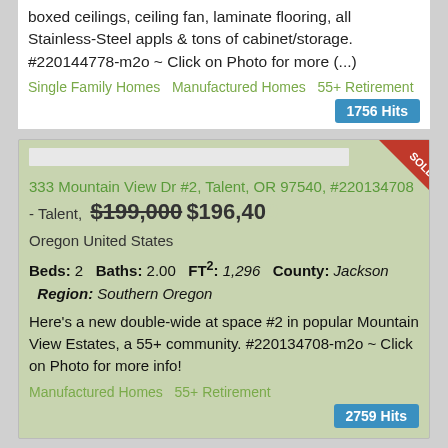boxed ceilings, ceiling fan, laminate flooring, all Stainless-Steel appls & tons of cabinet/storage. #220144778-m2o ~ Click on Photo for more (...)
Single Family Homes Manufactured Homes 55+ Retirement
1756 Hits
333 Mountain View Dr #2, Talent, OR 97540, #220134708 - Talent, Oregon United States $199,000 $196,400
Beds: 2   Baths: 2.00   FT²: 1,296   County: Jackson   Region: Southern Oregon
Here's a new double-wide at space #2 in popular Mountain View Estates, a 55+ community. #220134708-m2o ~ Click on Photo for more info!
Manufactured Homes 55+ Retirement
2759 Hits
333 Mountain View Dr #87 $199,000 $196,4...